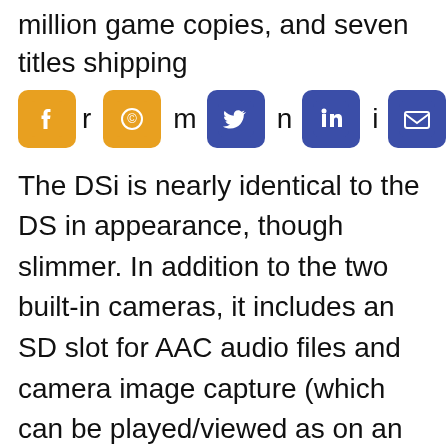million game copies, and seven titles shipping
[Figure (other): Social media share buttons: Facebook, WhatsApp, Twitter, LinkedIn, Email]
The DSi is nearly identical to the DS in appearance, though slimmer. In addition to the two built-in cameras, it includes an SD slot for AAC audio files and camera image capture (which can be played/viewed as on an iPod), slightly larger screens (3.25″ instead of 3″ in DS), 256 MB of RAM, and is able to download games from the DSi shop. It does have a lowered battery life, the result of the larger screens and feature set. In addition, the DSi has removed the Slot 1 present in the DS, and also